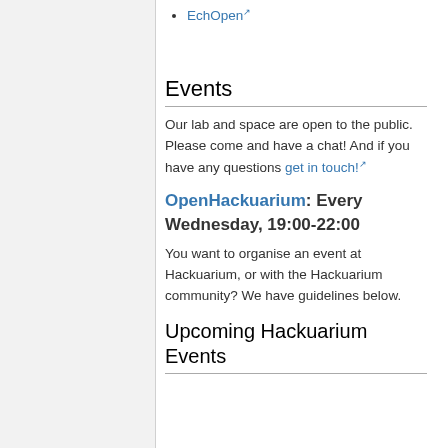EchOpen ↗
Events
Our lab and space are open to the public. Please come and have a chat! And if you have any questions get in touch! ↗
OpenHackuarium: Every Wednesday, 19:00-22:00
You want to organise an event at Hackuarium, or with the Hackuarium community? We have guidelines below.
Upcoming Hackuarium Events